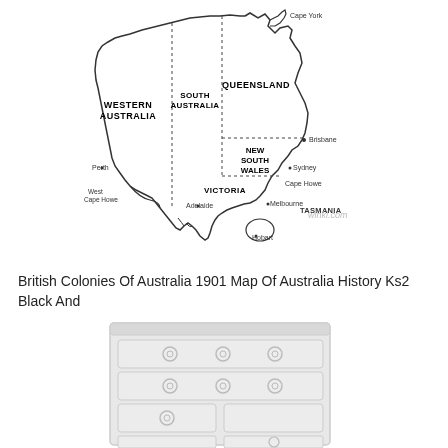[Figure (map): Black and white outline map of Australia showing colonial states/territories: Western Australia, South Australia, Queensland, New South Wales, Victoria, Tasmania. Labels include Cape York, Brisbane, Sydney, Cape Howe, Melbourne, Hobart, Perth, West Cape Howe, Adelaide. Dotted lines show state boundaries. Twinkl.com watermark visible.]
British Colonies Of Australia 1901 Map Of Australia History Ks2 Black And
[Figure (illustration): Illustration of a white chest of drawers / dresser with multiple drawers and round handles, shown partially cropped at the bottom of the page.]